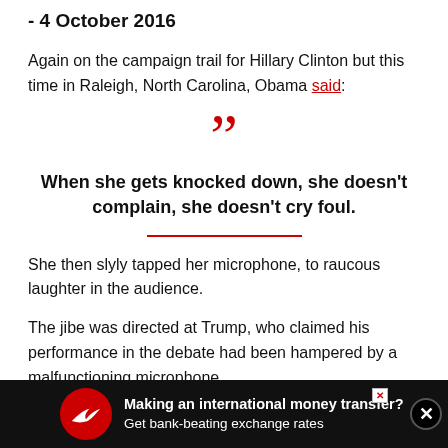- 4 October 2016
Again on the campaign trail for Hillary Clinton but this time in Raleigh, North Carolina, Obama said:
[Figure (other): Large decorative red closing quotation marks]
When she gets knocked down, she doesn't complain, she doesn't cry foul.
She then slyly tapped her microphone, to raucous laughter in the audience.
The jibe was directed at Trump, who claimed his performance in the debate had been hampered by a malfunctioning microphone.
The for
[Figure (infographic): Advertisement bar at bottom: Making an international money transfer? Get bank-beating exchange rates]